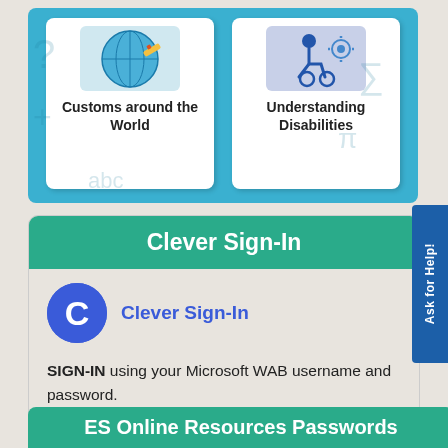[Figure (illustration): Two white tile cards on blue background. Left tile shows 'Customs around the World' with a globe/craft image. Right tile shows 'Understanding Disabilities' with a wheelchair/tools image.]
Customs around the World
Understanding Disabilities
Clever Sign-In
[Figure (logo): Clever logo - blue circle with white letter C]
Clever Sign-In
SIGN-IN using your Microsoft WAB username and password.
List of Online Resources which can remember you login details.
ES Online Resources Passwords